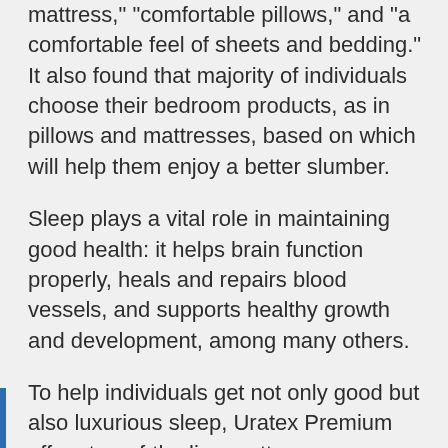mattress," "comfortable pillows," and "a comfortable feel of sheets and bedding." It also found that majority of individuals choose their bedroom products, as in pillows and mattresses, based on which will help them enjoy a better slumber.
Sleep plays a vital role in maintaining good health: it helps brain function properly, heals and repairs blood vessels, and supports healthy growth and development, among many others.
To help individuals get not only good but also luxurious sleep, Uratex Premium offers top-of-the line mattresses designed with the latest sleep-science innovation and fabric technology.
Made for sound, undisturbed sleep, the Uratex Premium Touch Collection is made with advanced Smart Reflex pocket springs that cleverly adjust to